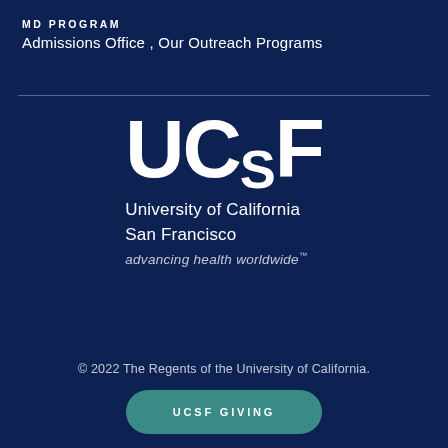MD PROGRAM
Admissions Office ,  Our Outreach Programs
[Figure (logo): UCSF logo with large stylized letters U, C, small S, F followed by text 'University of California San Francisco' and tagline 'advancing health worldwide™']
© 2022 The Regents of the University of California.
UCSF GIVING